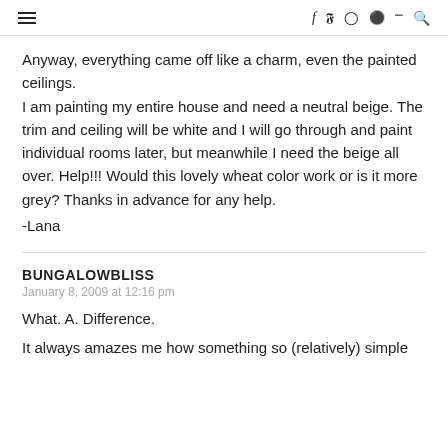≡  f  twitter  instagram  pinterest  rss  search
Anyway, everything came off like a charm, even the painted ceilings.
I am painting my entire house and need a neutral beige. The trim and ceiling will be white and I will go through and paint individual rooms later, but meanwhile I need the beige all over. Help!!! Would this lovely wheat color work or is it more grey? Thanks in advance for any help.
-Lana
BUNGALOWBLISS
January 8, 2009 at 12:16 pm
What. A. Difference.
It always amazes me how something so (relatively) simple